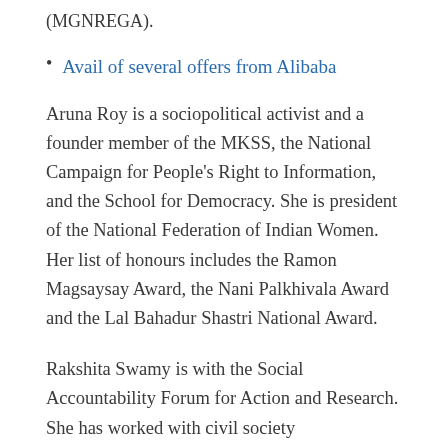(MGNREGA).
Avail of several offers from Alibaba
Aruna Roy is a sociopolitical activist and a founder member of the MKSS, the National Campaign for People's Right to Information, and the School for Democracy. She is president of the National Federation of Indian Women. Her list of honours includes the Ramon Magsaysay Award, the Nani Palkhivala Award and the Lal Bahadur Shastri National Award.
Rakshita Swamy is with the Social Accountability Forum for Action and Research. She has worked with civil society organizations, peoples' campaigns, movements and government departments to learn, embrace and advocate for improved transparency, accountability and citizen participation. She has been associated with the National Campaign for People's Right to...